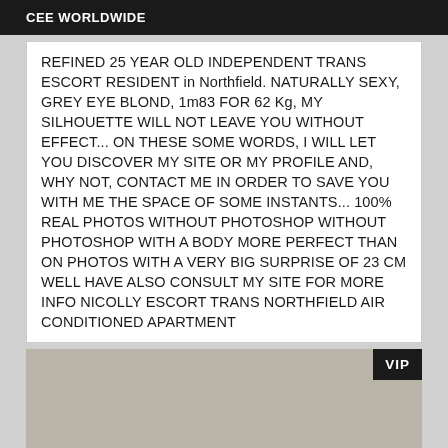CEE WORLDWIDE
REFINED 25 YEAR OLD INDEPENDENT TRANS ESCORT RESIDENT in Northfield. NATURALLY SEXY, GREY EYE BLOND, 1m83 FOR 62 Kg, MY SILHOUETTE WILL NOT LEAVE YOU WITHOUT EFFECT... ON THESE SOME WORDS, I WILL LET YOU DISCOVER MY SITE OR MY PROFILE AND, WHY NOT, CONTACT ME IN ORDER TO SAVE YOU WITH ME THE SPACE OF SOME INSTANTS... 100% REAL PHOTOS WITHOUT PHOTOSHOP WITHOUT PHOTOSHOP WITH A BODY MORE PERFECT THAN ON PHOTOS WITH A VERY BIG SURPRISE OF 23 CM WELL HAVE ALSO CONSULT MY SITE FOR MORE INFO NICOLLY ESCORT TRANS NORTHFIELD AIR CONDITIONED APARTMENT
[Figure (photo): Partial photo with VIP badge in top-right corner, showing a tan/beige background]
VIP